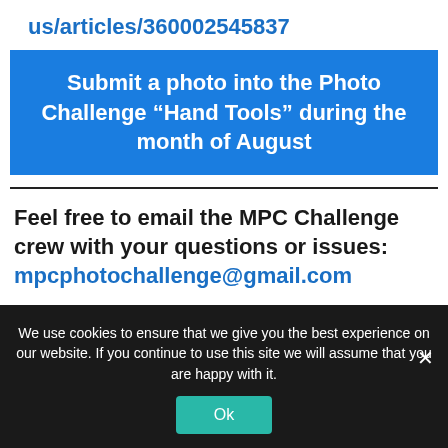us/articles/360002545837
Submit a photo into the Photo Challenge “Hand Tools” during the month of August
Feel free to email the MPC Challenge crew with your questions or issues: mpcphotochallenge@gmail.com
We use cookies to ensure that we give you the best experience on our website. If you continue to use this site we will assume that you are happy with it.